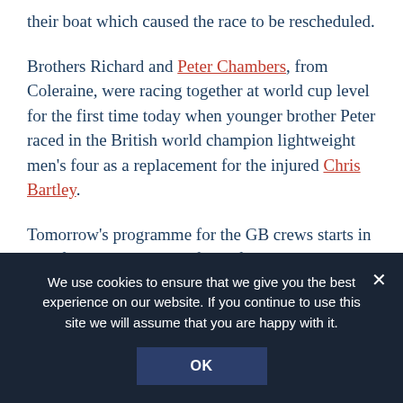their boat which caused the race to be rescheduled.
Brothers Richard and Peter Chambers, from Coleraine, were racing together at world cup level for the first time today when younger brother Peter raced in the British world champion lightweight men's four as a replacement for the injured Chris Bartley.
Tomorrow's programme for the GB crews starts in the afternoon with semi-finals from 12.30 to
We use cookies to ensure that we give you the best experience on our website. If you continue to use this site we will assume that you are happy with it.